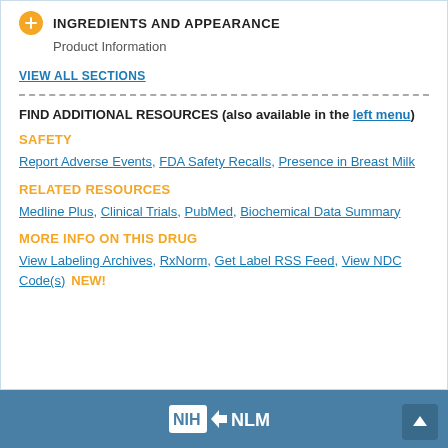INGREDIENTS AND APPEARANCE
Product Information
VIEW ALL SECTIONS
FIND ADDITIONAL RESOURCES (also available in the left menu)
SAFETY
Report Adverse Events, FDA Safety Recalls, Presence in Breast Milk
RELATED RESOURCES
Medline Plus, Clinical Trials, PubMed, Biochemical Data Summary
MORE INFO ON THIS DRUG
View Labeling Archives, RxNorm, Get Label RSS Feed, View NDC Code(s) NEW!
NIH NLM